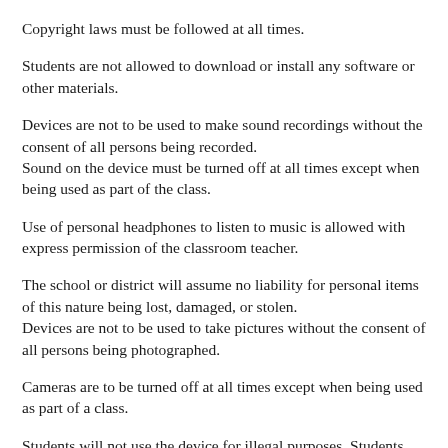Copyright laws must be followed at all times.
Students are not allowed to download or install any software or other materials.
Devices are not to be used to make sound recordings without the consent of all persons being recorded. Sound on the device must be turned off at all times except when being used as part of the class.
Use of personal headphones to listen to music is allowed with express permission of the classroom teacher.
The school or district will assume no liability for personal items of this nature being lost, damaged, or stolen. Devices are not to be used to take pictures without the consent of all persons being photographed.
Cameras are to be turned off at all times except when being used as part of a class.
Students will not use the device for illegal purposes. Students will not deliberately use the device to personally attack, annoy, harass, or bully others. Any such activities will be reported to